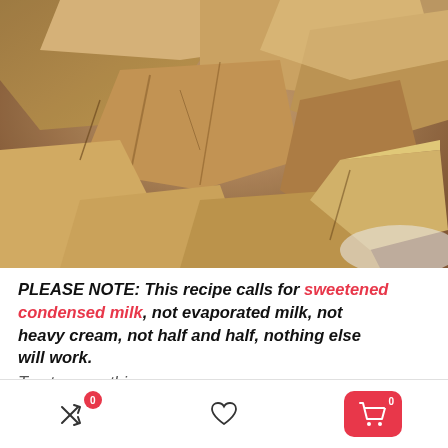[Figure (photo): Close-up photograph of pieces of fudge candy, tan/caramel colored squares and chunks piled together on a white surface]
PLEASE NOTE: This recipe calls for sweetened condensed milk, not evaporated milk, not heavy cream, not half and half, nothing else will work. Trust me on this.
[Figure (infographic): Mobile app bottom navigation bar with shuffle/share icon with badge 0, heart/favorite icon, and red cart button with badge 0]